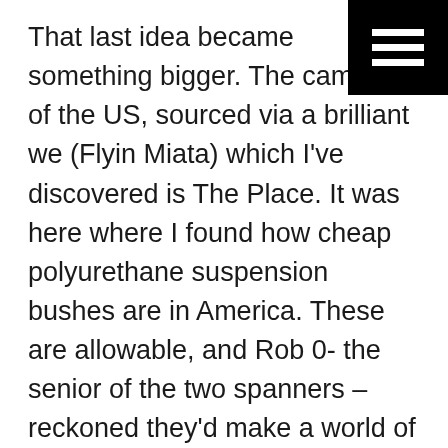That last idea became something bigger. The came out of the US, sourced via a brilliant we (Flyin Miata) which I've discovered is The Place. It was here where I found how cheap polyurethane suspension bushes are in America. These are allowable, and Rob 0- the senior of the two spanners – reckoned they'd make a world of difference. They probably will, but what a mission removing the rubber originals! Heavy duty hammers, fire and plenty of profanity came with that job. But it's done now. However, this was a turning point – we'd always hoped to keep the car road-registered, but even though the bushes aren't illegal, the suspension is now too firm to be road-friendly. So, a rego that was on hold will stay that